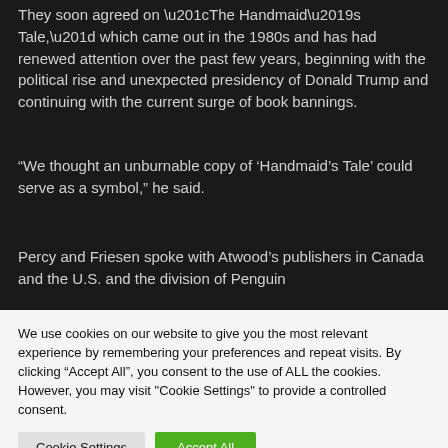They soon agreed on “The Handmaid’s Tale,” which came out in the 1980s and has had renewed attention over the past few years, beginning with the political rise and unexpected presidency of Donald Trump and continuing with the current surge of book bannings.
“We thought an unburnable copy of ‘Handmaid’s Tale’ could serve as a symbol,” he said.
Percy and Friesen spoke with Atwood’s publishers in Canada and the U.S. and the division of Penguin...
We use cookies on our website to give you the most relevant experience by remembering your preferences and repeat visits. By clicking “Accept All”, you consent to the use of ALL the cookies. However, you may visit "Cookie Settings" to provide a controlled consent.